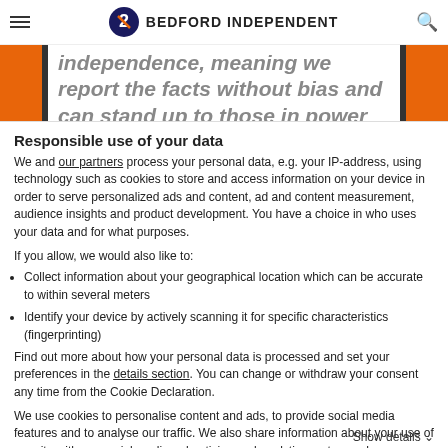BEDFORD INDEPENDENT
[Figure (other): Partial italic text banner reading: independence, meaning we report the facts without bias and can stand up to those in power when we believe it's needed]
Responsible use of your data
We and our partners process your personal data, e.g. your IP-address, using technology such as cookies to store and access information on your device in order to serve personalized ads and content, ad and content measurement, audience insights and product development. You have a choice in who uses your data and for what purposes.
If you allow, we would also like to:
Collect information about your geographical location which can be accurate to within several meters
Identify your device by actively scanning it for specific characteristics (fingerprinting)
Find out more about how your personal data is processed and set your preferences in the details section. You can change or withdraw your consent any time from the Cookie Declaration.
We use cookies to personalise content and ads, to provide social media features and to analyse our traffic. We also share information about your use of our site with our social media, advertising and analytics partners who may combine it with other information that you've provided to them or that they've collected from your use of their services.
Use necessary cookies only
Show details